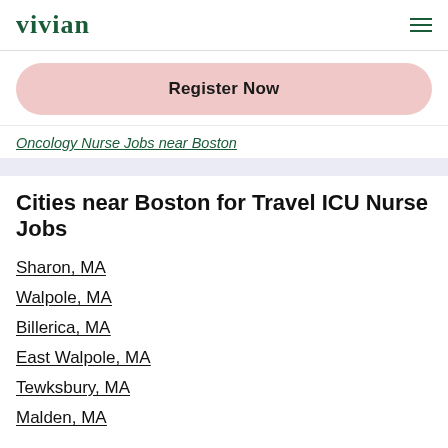vivian
Register Now
Oncology Nurse Jobs near Boston
Cities near Boston for Travel ICU Nurse Jobs
Sharon, MA
Walpole, MA
Billerica, MA
East Walpole, MA
Tewksbury, MA
Malden, MA